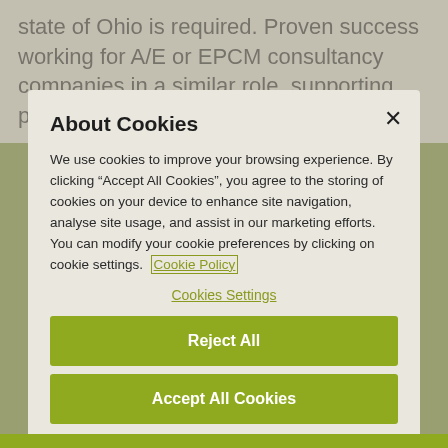state of Ohio is required. Proven success working for A/E or EPCM consultancy companies in a similar role, supporting projects
About Cookies
We use cookies to improve your browsing experience. By clicking “Accept All Cookies”, you agree to the storing of cookies on your device to enhance site navigation, analyse site usage, and assist in our marketing efforts. You can modify your cookie preferences by clicking on cookie settings. Cookie Policy
Cookies Settings
Reject All
Accept All Cookies